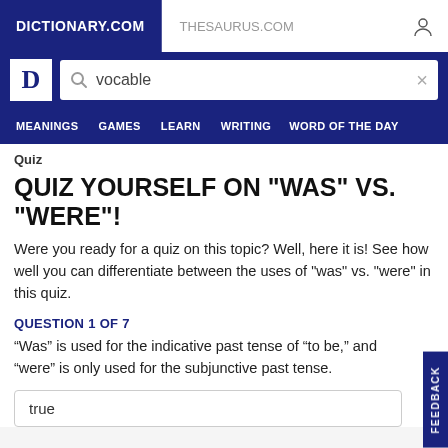DICTIONARY.COM | THESAURUS.COM
QUIZ
QUIZ YOURSELF ON "WAS" VS. "WERE"!
Were you ready for a quiz on this topic? Well, here it is! See how well you can differentiate between the uses of "was" vs. "were" in this quiz.
QUESTION 1 OF 7
“Was” is used for the indicative past tense of “to be,” and “were” is only used for the subjunctive past tense.
true